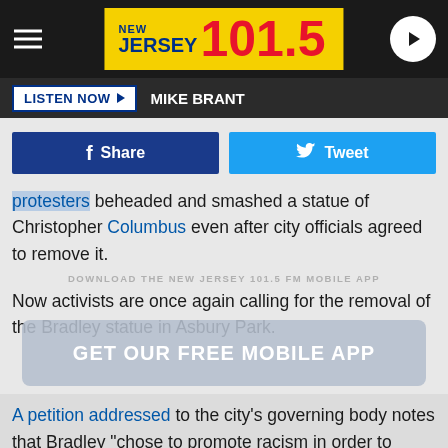[Figure (screenshot): New Jersey 101.5 radio station website header with logo, hamburger menu, play button, Listen Now bar with Mike Brant, Facebook Share and Twitter Tweet buttons, and article text about protesters beheading a Christopher Columbus statue, activists calling for removal of Bradley statue in Asbury Park, and a petition petition quote about Bradley promoting racism.]
NEW JERSEY 101.5
LISTEN NOW ► MIKE BRANT
Share
Tweet
protesters beheaded and smashed a statue of Christopher Columbus even after city officials agreed to remove it.
DOWNLOAD THE NEW JERSEY 101.5 FM MOBILE APP
Now activists are once again calling for the removal of the Bradley statue in Asbury Park.
GET OUR FREE MOBILE APP
A petition addressed to the city's governing body notes that Bradley "chose to promote racism in order to protect his own economic interest by segregating the Asbury Park Boardwalk, thereby institutionalizing racism."
"James A. Bradley's actions put in place segregationist